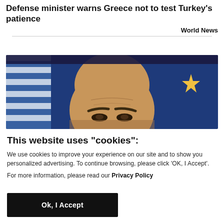Defense minister warns Greece not to test Turkey's patience
World News
[Figure (photo): Close-up photo of a bald man's forehead and eyes, with a blue EU flag with yellow star visible in the background]
This website uses "cookies":
We use cookies to improve your experience on our site and to show you personalized advertising. To continue browsing, please click 'OK, I Accept'.
For more information, please read our Privacy Policy
Ok, I Accept